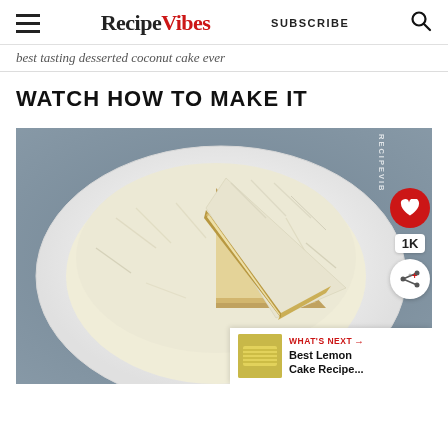RecipeVibes  SUBSCRIBE
best tasting desserted coconut cake ever
WATCH HOW TO MAKE IT
[Figure (photo): Overhead view of a coconut-covered layered cake on a white plate with a slice lifted, on a blue-grey surface. Side panel shows heart (1K likes) and share icons. Bottom-right shows a 'What's Next' preview for Best Lemon Cake Recipe.]